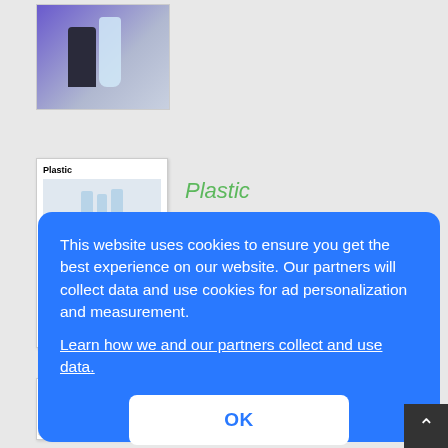[Figure (photo): Thumbnail image of dark object and plastic bottle against purple/blue gradient background]
[Figure (screenshot): Thumbnail of a document page titled 'Plastic' with images of bottles and text lines]
Plastic
[Figure (screenshot): Thumbnail of a chart/graph page]
plastic
This website uses cookies to ensure you get the best experience on our website. Our partners will collect data and use cookies for ad personalization and measurement.
Learn how we and our partners collect and use data.
OK